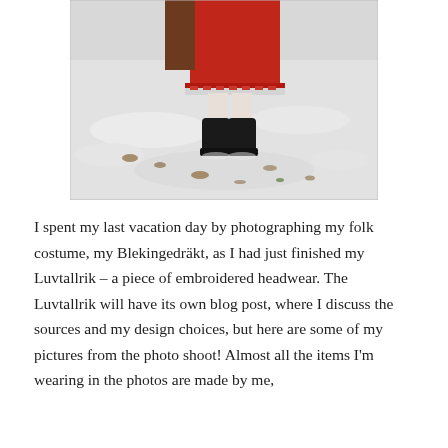[Figure (photo): A person wearing a red folk costume (Blekingedräkt) with embroidered hem and black boots standing on snow-covered ground with dead leaves visible. Only the lower half of the body is visible. A white post or sign is partially visible.]
I spent my last vacation day by photographing my folk costume, my Blekingedräkt, as I had just finished my Luvtallrik – a piece of embroidered headwear. The Luvtallrik will have its own blog post, where I discuss the sources and my design choices, but here are some of my pictures from the photo shoot! Almost all the items I'm wearing in the photos are made by me,